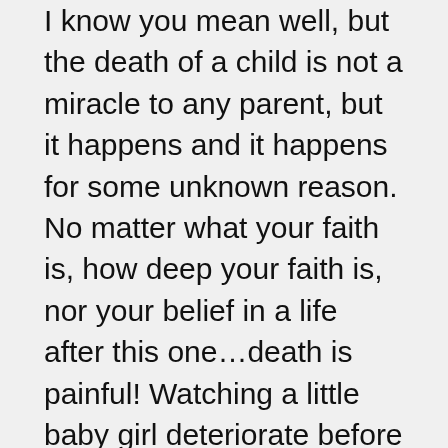I know you mean well, but the death of a child is not a miracle to any parent, but it happens and it happens for some unknown reason. No matter what your faith is, how deep your faith is, nor your belief in a life after this one…death is painful! Watching a little baby girl deteriorate before your very eyes has got to be abosolutely the worst pain ever! Yes, death has it's purpose…the whys will remain unknown until we leave this earthly life, but it is not a miracle. It is a nightmare even if you think you are prepared. My mother was 85 years old when she passed, I had many years caring for her, I knew she was dying at the end..I still begged God for a healing, for more time, for one more hug! My heart is still